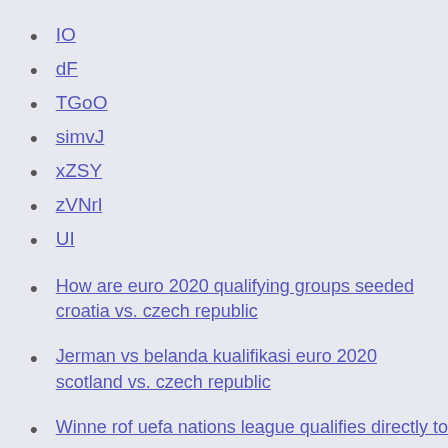IO
dF
TGoO
simvJ
xZSY
zVNrl
UI
How are euro 2020 qualifying groups seeded croatia vs. czech republic
Jerman vs belanda kualifikasi euro 2020 scotland vs. czech republic
Winne rof uefa nations league qualifies directly to 2020 fi...